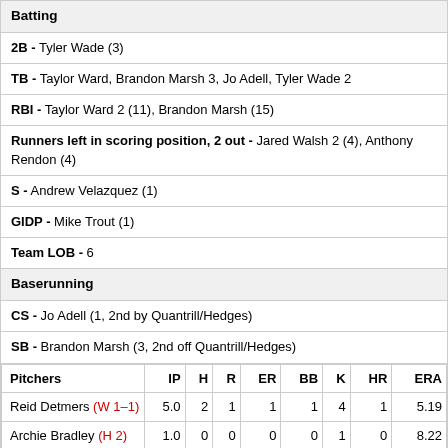Batting
2B - Tyler Wade (3)
TB - Taylor Ward, Brandon Marsh 3, Jo Adell, Tyler Wade 2
RBI - Taylor Ward 2 (11), Brandon Marsh (15)
Runners left in scoring position, 2 out - Jared Walsh 2 (4), Anthony Rendon (4)
S - Andrew Velazquez (1)
GIDP - Mike Trout (1)
Team LOB - 6
Baserunning
CS - Jo Adell (1, 2nd by Quantrill/Hedges)
SB - Brandon Marsh (3, 2nd off Quantrill/Hedges)
| Pitchers | IP | H | R | ER | BB | K | HR | ERA |
| --- | --- | --- | --- | --- | --- | --- | --- | --- |
| Reid Detmers (W 1-1) | 5.0 | 2 | 1 | 1 | 1 | 4 | 1 | 5.19 |
| Archie Bradley (H 2) | 1.0 | 0 | 0 | 0 | 0 | 1 | 0 | 8.22 |